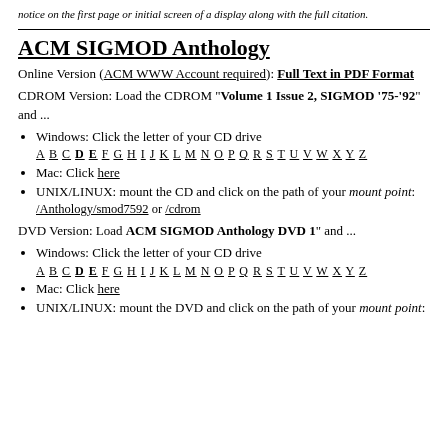notice on the first page or initial screen of a display along with the full citation.
ACM SIGMOD Anthology
Online Version (ACM WWW Account required): Full Text in PDF Format
CDROM Version: Load the CDROM "Volume 1 Issue 2, SIGMOD '75-'92" and ...
Windows: Click the letter of your CD drive A B C D E F G H I J K L M N O P Q R S T U V W X Y Z
Mac: Click here
UNIX/LINUX: mount the CD and click on the path of your mount point: /Anthology/smod7592 or /cdrom
DVD Version: Load ACM SIGMOD Anthology DVD 1" and ...
Windows: Click the letter of your CD drive A B C D E F G H I J K L M N O P Q R S T U V W X Y Z
Mac: Click here
UNIX/LINUX: mount the DVD and click on the path of your mount point: